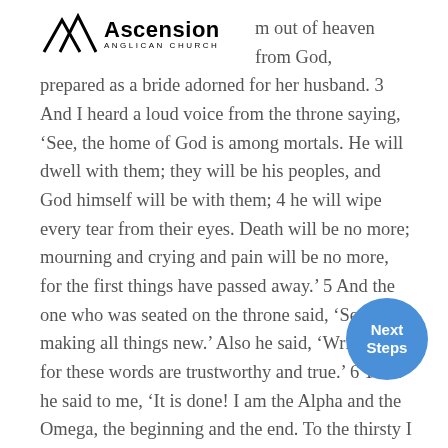[Figure (logo): Ascension Anglican Church logo with mountain/triangle outline icon and bold text 'Ascension' with 'ANGLICAN CHURCH' below]
Jerusalem, coming down out of heaven from God, prepared as a bride adorned for her husband. 3 And I heard a loud voice from the throne saying, 'See, the home of God is among mortals. He will dwell with them; they will be his peoples, and God himself will be with them; 4 he will wipe every tear from their eyes. Death will be no more; mourning and crying and pain will be no more, for the first things have passed away.' 5 And the one who was seated on the throne said, 'See, I am making all things new.' Also he said, 'Write this, for these words are trustworthy and true.' 6 Then he said to me, 'It is done! I am the Alpha and the Omega, the beginning and the end. To the thirsty I will give water as
[Figure (other): Blue circular button with white text 'Next Steps']